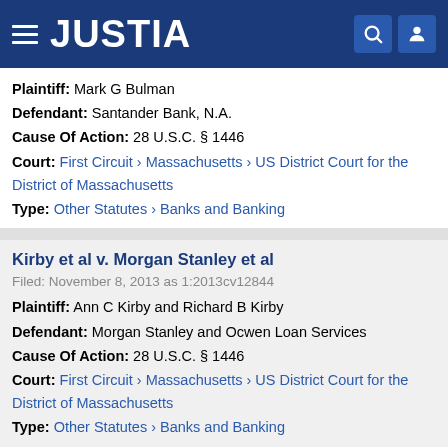JUSTIA
Plaintiff: Mark G Bulman
Defendant: Santander Bank, N.A.
Cause Of Action: 28 U.S.C. § 1446
Court: First Circuit › Massachusetts › US District Court for the District of Massachusetts
Type: Other Statutes › Banks and Banking
Kirby et al v. Morgan Stanley et al
Filed: November 8, 2013 as 1:2013cv12844
Plaintiff: Ann C Kirby and Richard B Kirby
Defendant: Morgan Stanley and Ocwen Loan Services
Cause Of Action: 28 U.S.C. § 1446
Court: First Circuit › Massachusetts › US District Court for the District of Massachusetts
Type: Other Statutes › Banks and Banking